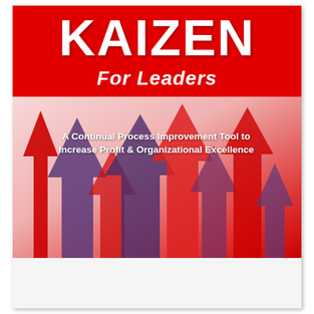KAIZEN For Leaders
A Continual Process Improvement Tool to Increase Profit & Organizational Excellence
[Figure (illustration): Multiple upward-pointing arrows in red and purple/dark tones overlapping on a gradient pink-red background, symbolizing continuous growth and improvement]
Shruti Bhat PhD, MBA, CLSSBB
Business Process Management Systems and Continuous Improvement Executive Guide Series